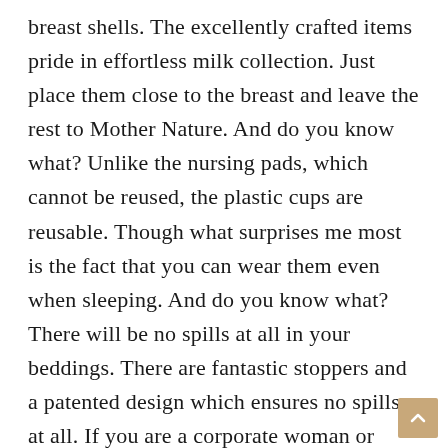breast shells. The excellently crafted items pride in effortless milk collection. Just place them close to the breast and leave the rest to Mother Nature. And do you know what? Unlike the nursing pads, which cannot be reused, the plastic cups are reusable. Though what surprises me most is the fact that you can wear them even when sleeping. And do you know what? There will be no spills at all in your beddings. There are fantastic stoppers and a patented design which ensures no spills at all. If you are a corporate woman or always in the run, this is the best breast milk catcher for you. How do I know? It is 100% food-grade silicone and phthalate-free. Subsequently, it prevents